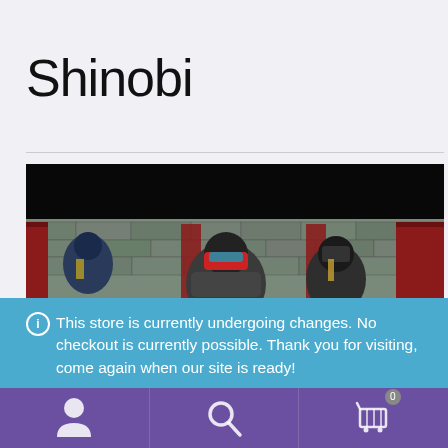Shinobi
[Figure (screenshot): Game screenshot showing Shinobi ninja characters in a stone fortress environment with red architectural elements. Dark image with characters in foreground.]
This store is currently undergoing changes. No checkout is currently possible. Thank you for visiting, come again when our site is ready!
Dismiss
[Figure (infographic): Purple navigation footer bar with three icons: user/person icon on left, search/magnifying glass in center, shopping cart with badge showing 0 on right.]